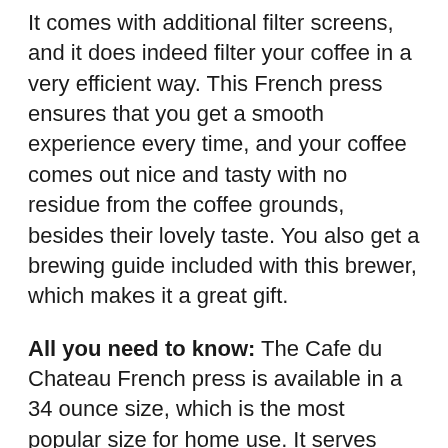It comes with additional filter screens, and it does indeed filter your coffee in a very efficient way. This French press ensures that you get a smooth experience every time, and your coffee comes out nice and tasty with no residue from the coffee grounds, besides their lovely taste. You also get a brewing guide included with this brewer, which makes it a great gift.
All you need to know: The Cafe du Chateau French press is available in a 34 ounce size, which is the most popular size for home use. It serves between 8 and 10 people depending on the size of your coffee cups, and if they are mug-sized, it will serve approximately 4 people.